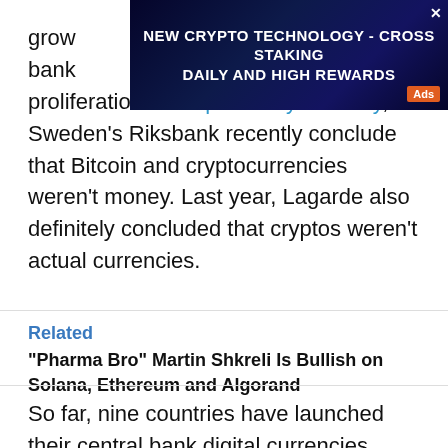[Figure (other): Advertisement banner: NEW CRYPTO TECHNOLOGY - CROSS STAKING DAILY AND HIGH REWARDS with Ads badge]
grow... central bank... ts proliferation. As reported by U.Today, Sweden's Riksbank recently conclude that Bitcoin and cryptocurrencies weren't money. Last year, Lagarde also definitely concluded that cryptos weren't actual currencies.
Related
"Pharma Bro" Martin Shkreli Is Bullish on Solana, Ethereum and Algorand
So far, nine countries have launched their central bank digital currencies (most of them are located in the Caribbean). Ninety percent of countries